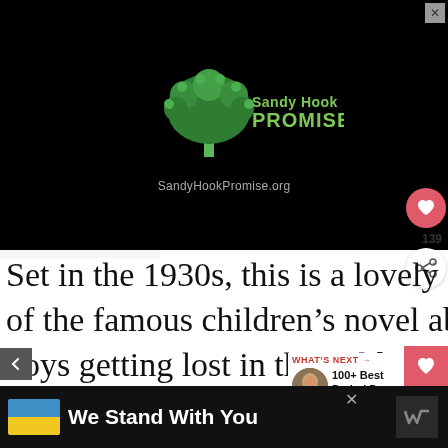[Figure (logo): Sandy Hook Promise advertisement on black background showing green tree logo made of handprints and text 'Sandy Hook PROMISE' with URL 'SandyHookPromise.org']
Set in the 1930s, this is a lovely adaptatio of the famous children's novel about two boys getting lost in the wilderness.
[Figure (infographic): WHAT'S NEXT panel with thumbnail image and text '100+ Best Period Dram...']
[Figure (infographic): Bottom banner ad: Ukrainian flag graphic with text 'We Stand With You' on dark background]